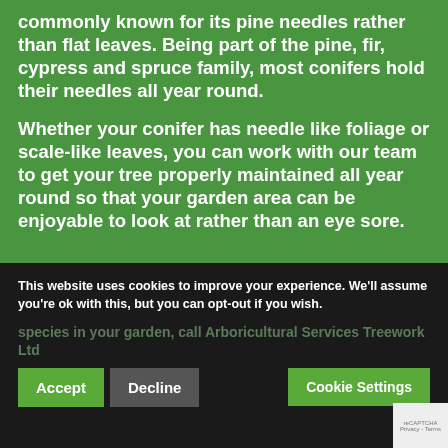commonly known for its pine needles rather than flat leaves. Being part of the pine, fir, cypress and spruce family, most conifers hold their needles all year round.
Whether your conifer has needle like foliage or scale-like leaves, you can work with our team to get your tree properly maintained all year round so that your garden area can be enjoyable to look at rather than an eye sore.
Get In Touch
species in your garden, call Arboricultural Services Treework Ltd
This website uses cookies to improve your experience. We'll assume you're ok with this, but you can opt-out if you wish.